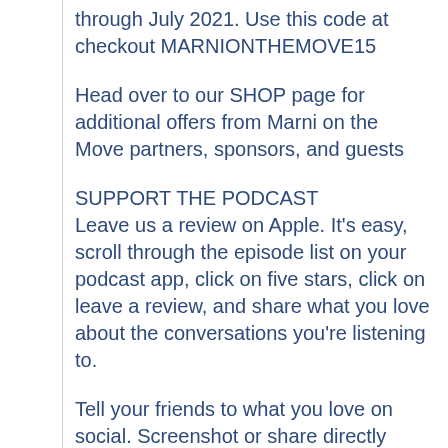through July 2021. Use this code at checkout MARNIONTHEMOVE15
Head over to our SHOP page for additional offers from Marni on the Move partners, sponsors, and guests
SUPPORT THE PODCAST
Leave us a review on Apple. It's easy, scroll through the episode list on your podcast app, click on five stars, click on leave a review, and share what you love about the conversations you're listening to.
Tell your friends to what you love on social. Screenshot or share directly from our stories the episode you're listening to, tag us and the guests, and use our new Marni on the